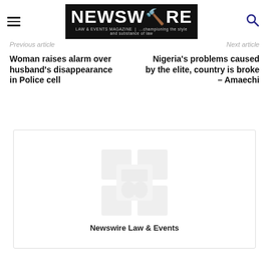NEWSWIRE LAW & EVENTS MAGAZINE | ...championing the style and substance of law
Previous article
Next article
Woman raises alarm over husband's disappearance in Police cell
Nigeria's problems caused by the elite, country is broke – Amaechi
[Figure (logo): Newswire Law & Events faded magazine collage logo placeholder]
Newswire Law & Events